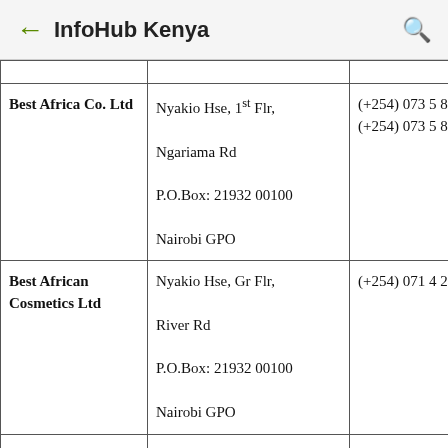← InfoHub Kenya 🔍
| Name | Address | Phone |
| --- | --- | --- |
| Best Africa Co. Ltd | Nyakio Hse, 1st Flr, Ngariama Rd
P.O.Box: 21932 00100
Nairobi GPO | (+254) 073 5 867289, (+254) 073 5 867289 |
| Best African Cosmetics Ltd | Nyakio Hse, Gr Flr, River Rd
P.O.Box: 21932 00100
Nairobi GPO | (+254) 071 4 223320 |
| Best Care Beauty Shop | Unique Arcade, Gr Flr, Dubois Rd
P.O.Box: 24579 00502
Karen | (+254) 071 5 666251 |